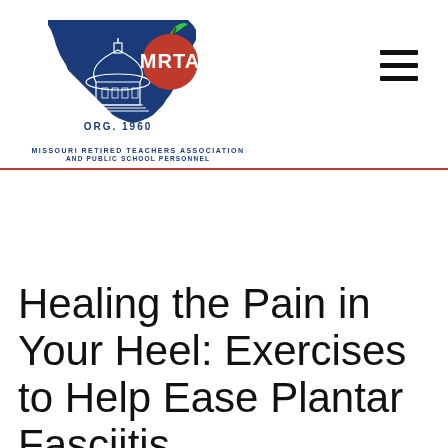[Figure (logo): MRTA logo — Missouri state outline in blue with capitol building, red apple with leaf, white MRTA text, ORG. 1960 text below]
MISSOURI RETIRED TEACHERS ASSOCIATION AND PUBLIC SCHOOL PERSONNEL
Healing the Pain in Your Heel: Exercises to Help Ease Plantar Fasciitis